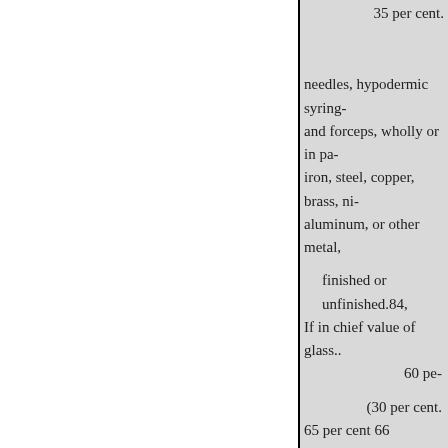35 per cent.
needles, hypodermic syring- and forceps, wholly or in pa- iron, steel, copper, brass, ni- aluminum, or other metal,
finished or unfinished.84,
If in chief value of glass..
60 pe-
(30 per cent.
65 per cent 66
360 Scientific and laborator- ments, apparatus, utensi-
40 per cent.
40 per cent.